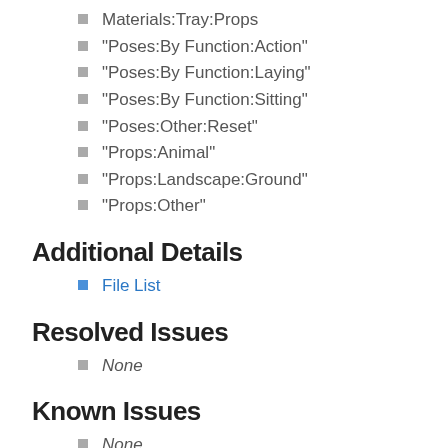Materials:Tray:Props
"Poses:By Function:Action"
"Poses:By Function:Laying"
"Poses:By Function:Sitting"
"Poses:Other:Reset"
"Props:Animal"
"Props:Landscape:Ground"
"Props:Other"
Additional Details
File List
Resolved Issues
None
Known Issues
None